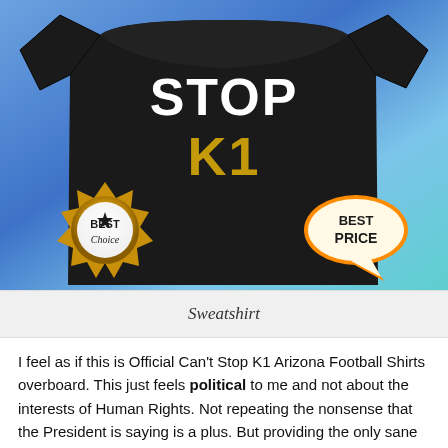[Figure (photo): A black sweatshirt with 'STOP K1' text printed on it — 'STOP' in white bold letters and 'K1' in gold/yellow letters. The sweatshirt is displayed on a blue gradient background. A 'Best Choice' gold medallion badge is in the lower left and a 'Best Price' speech-bubble badge is in the lower right.]
Sweatshirt
I feel as if this is Official Can't Stop K1 Arizona Football Shirts overboard. This just feels political to me and not about the interests of Human Rights. Not repeating the nonsense that the President is saying is a plus. But providing the only sane advice in the daily briefings. Until